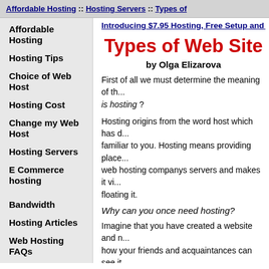Affordable Hosting :: Hosting Servers :: Types of
Affordable Hosting
Hosting Tips
Choice of Web Host
Hosting Cost
Change my Web Host
Hosting Servers
E Commerce hosting
Bandwidth
Hosting Articles
Web Hosting FAQs
Resources
Contact Us
Introducing $7.95 Hosting, Free Setup and $
Types of Web Site
by Olga Elizarova
First of all we must determine the meaning of the word... What is hosting ?
Hosting origins from the word host which has d... familiar to you. Hosting means providing place web hosting companys servers and makes it vi... floating it.
Why can you once need hosting?
Imagine that you have created a website and n... how your friends and acquaintances can see it. personal computer, but then you come to know your computers safety and needs permanent In... causes a lot of inconveniences for you. To avoi... hosting.